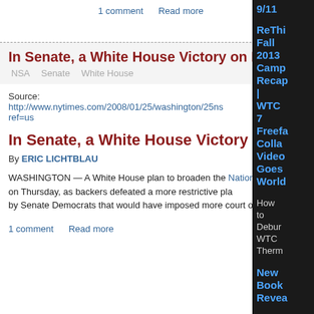1 comment   Read more
Mekt_Ranzz fri, 01/25/2008 - 12:5
In Senate, a White House Victory on Eavesdropping
NSA   Senate   White House
Source:
http://www.nytimes.com/2008/01/25/washington/25ns...ref=us
In Senate, a White House Victory on Eavesdropping
By ERIC LICHTBLAU
WASHINGTON — A White House plan to broaden the National Security Agency's wiretapping powers won a key procedural victory in the Senate on Thursday, as backers defeated a more restrictive plan by Senate Democrats that would have imposed more court oversight on government spying.
1 comment   Read more
9/11
ReThi Fall 2013 Camp Recap | WTC 7 Freefa Colla Video Goes World
How to Debur WTC Therm
New Book Revea